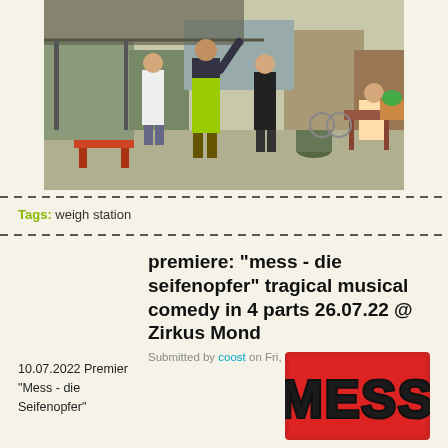[Figure (photo): Outdoor scene showing people in an industrial yard or parking area. A person in bright yellow-green pants stands centrally with arm raised, another person in white shirt faces them, and a third person in black stands to the right. Background shows containers, graffiti walls, a bench, and urban outdoor setting.]
Tags: weigh station
premiere: "mess - die seifenopfer" tragical musical comedy in 4 parts 26.07.22 @ Zirkus Mond
Submitted by coost on Fri, 01/07/2022 - 3:09pm
10.07.2022 Premier
"Mess - die
Seifenopfer"
[Figure (photo): MESS logo on red background with graffiti-style black lettering spelling MESS]